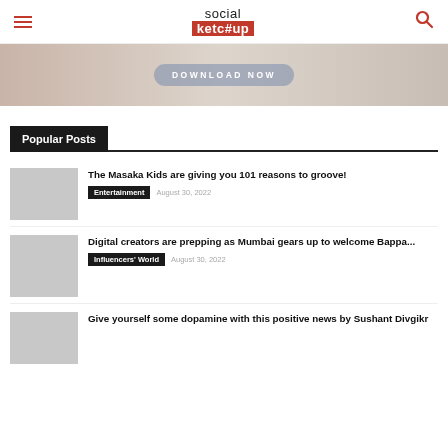social ketc#up — navigation header with hamburger menu and search icon
[Figure (photo): Banner image with DOWNLOAD NOW button overlay]
Popular Posts
The Masaka Kids are giving you 101 reasons to groove! — Entertainment — August 30, 2022
Digital creators are prepping as Mumbai gears up to welcome Bappa... — Influencers' World — August 30, 2022
Give yourself some dopamine with this positive news by Sushant Divgikr